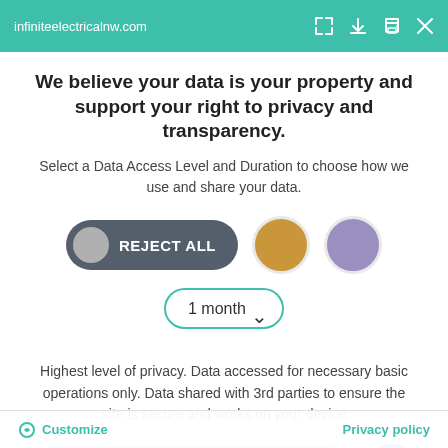infiniteelectricalnw.com
We believe your data is your property and support your right to privacy and transparency.
Select a Data Access Level and Duration to choose how we use and share your data.
REJECT ALL
1 month
Highest level of privacy. Data accessed for necessary basic operations only. Data shared with 3rd parties to ensure the site is secure and works on your device
Save my preferences
Customize
Privacy policy